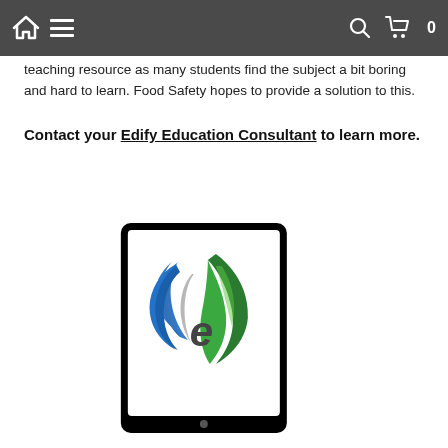Navigation bar with home icon, hamburger menu, search icon, and cart (0)
teaching resource as many students find the subject a bit boring and hard to learn. Food Safety hopes to provide a solution to this.
Contact your Edify Education Consultant to learn more.
[Figure (logo): Edify Education logo: a tablet device with a stylized 'e' formed by blue and green leaf/flame shapes on a white background, with a gray parenthesis-like arc]